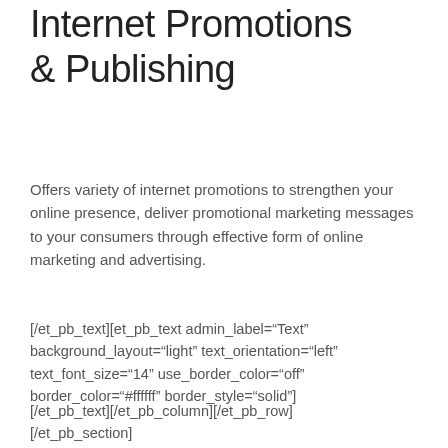Internet Promotions & Publishing
Offers variety of internet promotions to strengthen your online presence, deliver promotional marketing messages to your consumers through effective form of online marketing and advertising.
[/et_pb_text][et_pb_text admin_label="Text" background_layout="light" text_orientation="left" text_font_size="14" use_border_color="off" border_color="#ffffff" border_style="solid"]
[/et_pb_text][/et_pb_column][/et_pb_row][/et_pb_section]